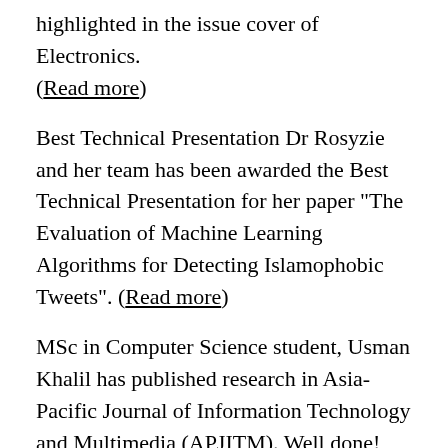highlighted in the issue cover of Electronics. (Read more)
Best Technical Presentation Dr Rosyzie and her team has been awarded the Best Technical Presentation for her paper "The Evaluation of Machine Learning Algorithms for Detecting Islamophobic Tweets". (Read more)
MSc in Computer Science student, Usman Khalil has published research in Asia-Pacific Journal of Information Technology and Multimedia (APJITM). Well done! (Read more)
Dr Mueen has joined several editorial committees in the following Scopus-indexed journals, Mobile Information Systems and IET Networks. (Read more)